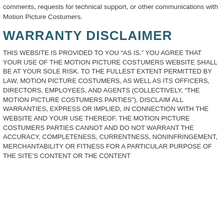comments, requests for technical support, or other communications with Motion Picture Costumers.
WARRANTY DISCLAIMER
THIS WEBSITE IS PROVIDED TO YOU “AS IS.” YOU AGREE THAT YOUR USE OF THE MOTION PICTURE COSTUMERS WEBSITE SHALL BE AT YOUR SOLE RISK. TO THE FULLEST EXTENT PERMITTED BY LAW, MOTION PICTURE COSTUMERS, AS WELL AS ITS OFFICERS, DIRECTORS, EMPLOYEES, AND AGENTS (COLLECTIVELY, “THE MOTION PICTURE COSTUMERS PARTIES”), DISCLAIM ALL WARRANTIES, EXPRESS OR IMPLIED, IN CONNECTION WITH THE WEBSITE AND YOUR USE THEREOF. THE MOTION PICTURE COSTUMERS PARTIES CANNOT AND DO NOT WARRANT THE ACCURACY, COMPLETENESS, CURRENTNESS, NONINFRINGEMENT, MERCHANTABILITY OR FITNESS FOR A PARTICULAR PURPOSE OF THE SITE’S CONTENT OR THE CONTENT